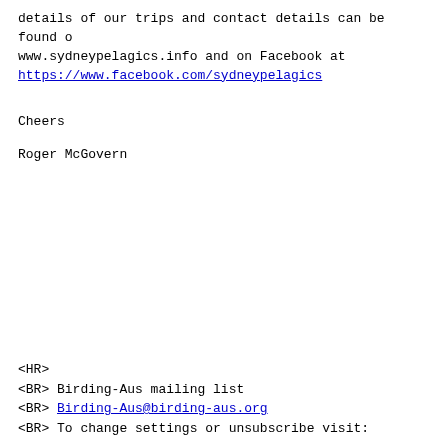details of our trips and contact details can be found on www.sydneypelagics.info and on Facebook at https://www.facebook.com/sydneypelagics
Cheers
Roger McGovern
<HR>
<BR> Birding-Aus mailing list
<BR> Birding-Aus@birding-aus.org
<BR> To change settings or unsubscribe visit: